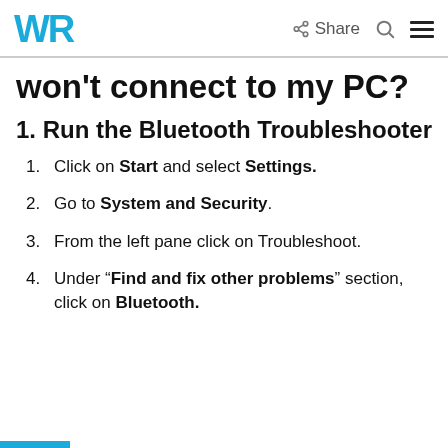WR | Share | [search icon] | [menu icon]
won't connect to my PC?
1. Run the Bluetooth Troubleshooter
Click on Start and select Settings.
Go to System and Security.
From the left pane click on Troubleshoot.
Under “Find and fix other problems” section, click on Bluetooth.